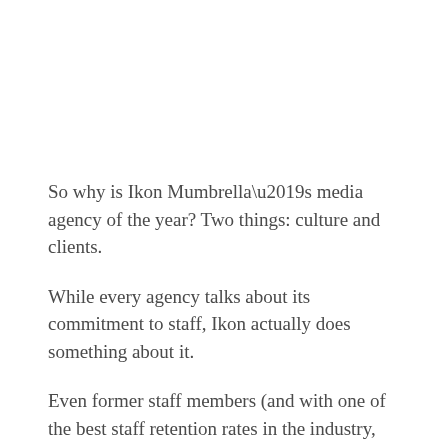So why is Ikon Mumbrella’s media agency of the year? Two things: culture and clients.
While every agency talks about its commitment to staff, Ikon actually does something about it.
Even former staff members (and with one of the best staff retention rates in the industry, there aren’t that many of them) speak fondly of the company’s culture.